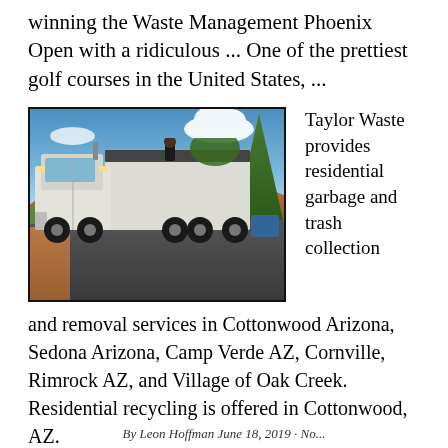winning the Waste Management Phoenix Open with a ridiculous ... One of the prettiest golf courses in the United States, ...
[Figure (photo): A white garbage/refuse collection truck on a road, with red rock canyon scenery in the background and a blue sky with clouds. A person appears to be on the back of the truck.]
Taylor Waste provides residential garbage and trash collection and removal services in Cottonwood Arizona, Sedona Arizona, Camp Verde AZ, Cornville, Rimrock AZ, and Village of Oak Creek. Residential recycling is offered in Cottonwood, AZ.
By Leon Hoffman June 18, 2019 · No...